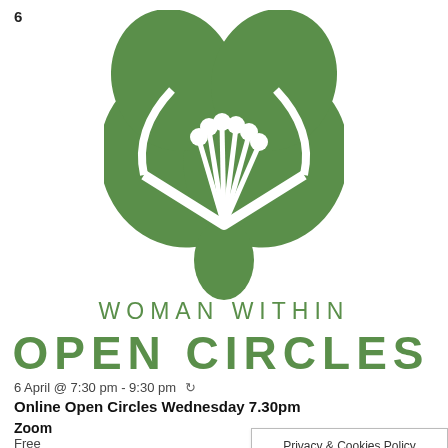6
[Figure (logo): Woman Within green leaf/flower heart-shaped logo with white stamens and a V-shaped white line]
WOMAN WITHIN
OPEN CIRCLES
6 April @ 7:30 pm - 9:30 pm ↻
Online Open Circles Wednesday 7.30pm
Zoom
Free
Privacy & Cookies Policy